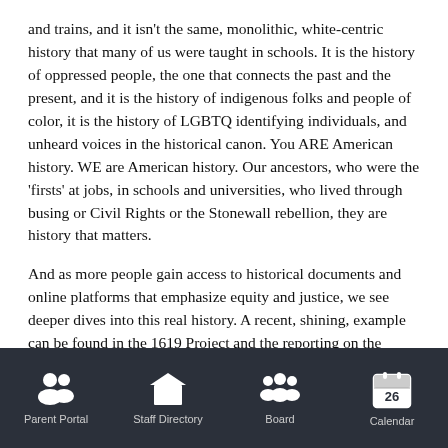and trains, and it isn't the same, monolithic, white-centric history that many of us were taught in schools. It is the history of oppressed people, the one that connects the past and the present, and it is the history of indigenous folks and people of color, it is the history of LGBTQ identifying individuals, and unheard voices in the historical canon. You ARE American history. WE are American history. Our ancestors, who were the 'firsts' at jobs, in schools and universities, who lived through busing or Civil Rights or the Stonewall rebellion, they are history that matters.
And as more people gain access to historical documents and online platforms that emphasize equity and justice, we see deeper dives into this real history. A recent, shining, example can be found in the 1619 Project and the reporting on the legacy of slavery that it has inspired. This initiative is an extraordinary undertaking that shows how slavery shaped the United States and continues to affect nearly every facet of American life.
Parent Portal  Staff Directory  Board  Calendar